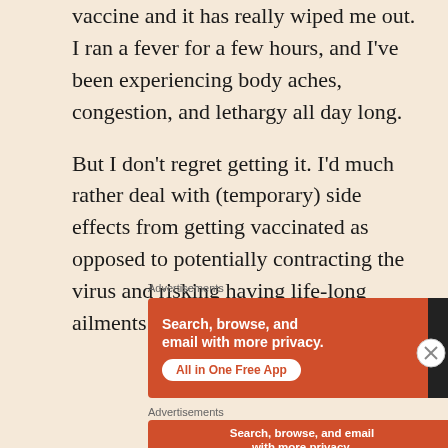vaccine and it has really wiped me out. I ran a fever for a few hours, and I've been experiencing body aches, congestion, and lethargy all day long.
But I don't regret getting it. I'd much rather deal with (temporary) side effects from getting vaccinated as opposed to potentially contracting the virus and risking having life-long ailments stemming from it.
Advertisements
[Figure (illustration): DuckDuckGo advertisement: orange background with text 'Search, browse, and email with more privacy.' and 'All in One Free App' button. Right side shows a dark phone with DuckDuckGo logo.]
Advertisements
[Figure (illustration): DuckDuckGo advertisement (partial): same orange ad with 'Search, browse, and email with more privacy.' and 'All in One Free App' button, partially visible at bottom.]